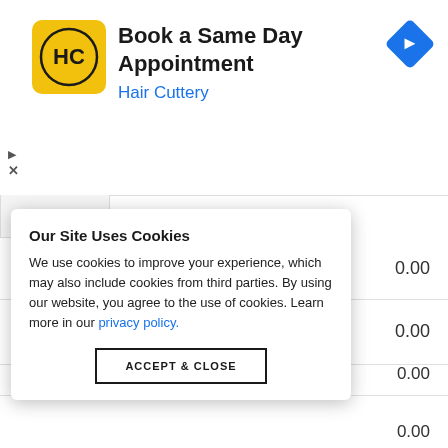[Figure (screenshot): Hair Cuttery advertisement banner: logo (HC in yellow circle), text 'Book a Same Day Appointment / Hair Cuttery', blue diamond arrow icon, ad controls (play/close)]
| Time | Icon | Temp | Precip |
| --- | --- | --- | --- |
| 8:35 PM | [cloudy icon] | 70 | 0.00 |
| 8:55 PM | [rain icon] | 70 | 0.00 |
|  |  |  | 0.00 |
|  |  |  | 0.00 |
|  |  |  | 0.00 |
|  |  |  | 0.00 |
| 10:35 PM | [icon] | 68 | 0.00 |
Our Site Uses Cookies
We use cookies to improve your experience, which may also include cookies from third parties. By using our website, you agree to the use of cookies. Learn more in our privacy policy.
ACCEPT & CLOSE